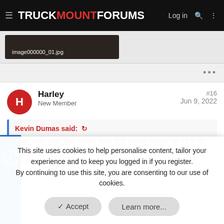TRUCKMOUNTFORUMS  Log in
[Figure (screenshot): Attachment thumbnail showing image000000_01.jpg in a dark background card]
...
Harley
New Member
#16
Jun 9, 2022
Kevin Dumas said: ↩
I ran twin over the wheel well 100 gallon tanks on all 3 of my
This site uses cookies to help personalise content, tailor your experience and to keep you logged in if you register.
By continuing to use this site, you are consenting to our use of cookies.